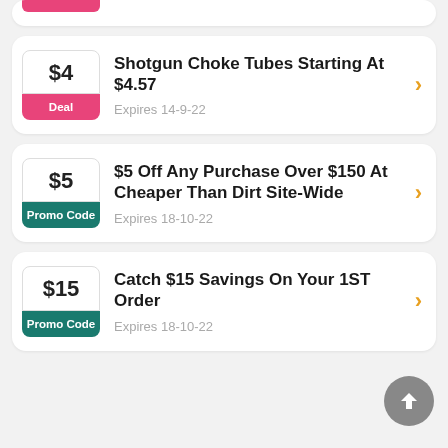[Figure (other): Partial coupon card at top showing pink bar]
Shotgun Choke Tubes Starting At $4.57
Expires 14-9-22
$5 Off Any Purchase Over $150 At Cheaper Than Dirt Site-Wide
Expires 18-10-22
Catch $15 Savings On Your 1ST Order
Expires 18-10-22